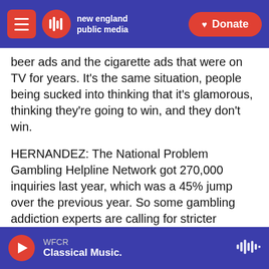new england public media | Donate
beer ads and the cigarette ads that were on TV for years. It's the same situation, people being sucked into thinking that it's glamorous, thinking they're going to win, and they don't win.
HERNANDEZ: The National Problem Gambling Helpline Network got 270,000 inquiries last year, which was a 45% jump over the previous year. So some gambling addiction experts are calling for stricter regulation, things like not appealing to kids and other limits.
KELLY: Let me guess what the sports betting industry has to say about these calls for...
WFCR | Classical Music.